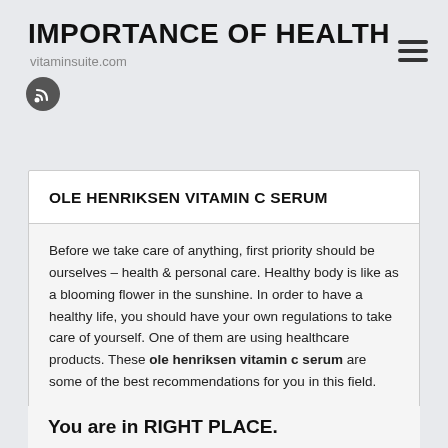IMPORTANCE OF HEALTH
vitaminsuite.com
OLE HENRIKSEN VITAMIN C SERUM
Before we take care of anything, first priority should be ourselves – health & personal care. Healthy body is like as a blooming flower in the sunshine. In order to have a healthy life, you should have your own regulations to take care of yourself. One of them are using healthcare products. These ole henriksen vitamin c serum are some of the best recommendations for you in this field.
You are in RIGHT PLACE.